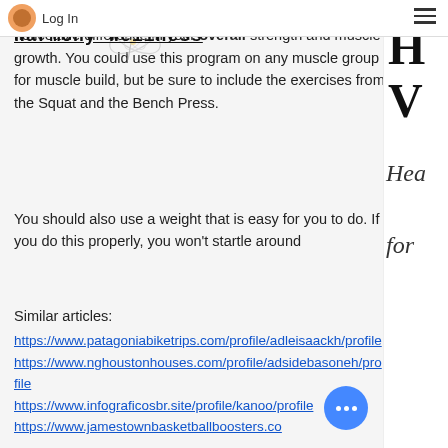Log In | [hamburger menu] | Harmony Wellness
Once you complete this program, you should notice a noticeable difference in your overall strength and muscle growth. You could use this program on any muscle group for muscle build, but be sure to include the exercises from the Squat and the Bench Press.
You should also use a weight that is easy for you to do. If you do this properly, you won't startle around
Similar articles:
https://www.patagoniabiketrips.com/profile/adleisaackh/profile
https://www.nghoustonhouses.com/profile/adsidebasoneh/profile
https://www.infograficosbr.site/profile/kanoo/profile
https://www.jamestownbasketballboosters.co